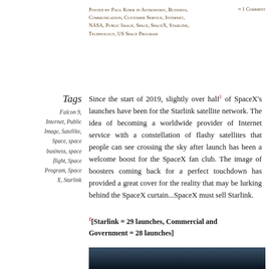Posted by Paul Kiser in Astronomy, Business, Communication, Customer Service, Internet, NASA, Public Image, Space, SpaceX, Starlink, Technology, US Space Program
≈ 1 Comment
Tags
Falcon 9, Internet, Public Image, Satellite, Space, space business, space flight, Space Program, Space X, Starlink
Since the start of 2019, slightly over half¹ of SpaceX's launches have been for the Starlink satellite network. The idea of becoming a worldwide provider of Internet service with a constellation of flashy satellites that people can see crossing the sky after launch has been a welcome boost for the SpaceX fan club. The image of boosters coming back for a perfect touchdown has provided a great cover for the reality that may be lurking behind the SpaceX curtain...SpaceX must sell Starlink.
¹[Starlink = 29 launches, Commercial and Government = 28 launches]
[Figure (photo): Partial view of a dark space/night sky image at the bottom of the page]